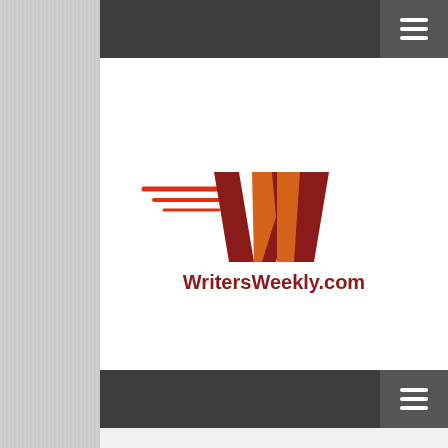☰ (navigation menu)
[Figure (logo): WritersWeekly.com logo — stylized W in red/orange/dark-red with speed-line swooshes, and the text 'WritersWeekly.com' in dark red below]
☰ (navigation menu)
ARTICLES
Writing and Selling News Items By David Geer
July 16, 2003